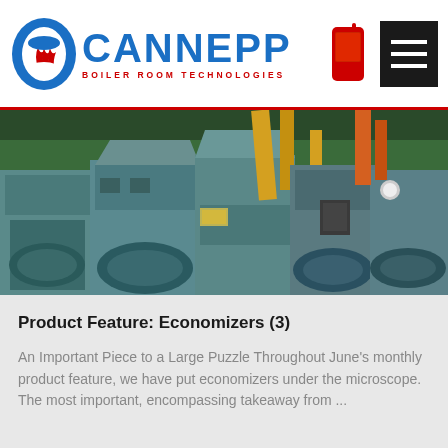CANNEPP BOILER ROOM TECHNOLOGIES
[Figure (photo): Industrial boiler room with large blue/teal machinery, pipes, and equipment in a factory setting]
Product Feature: Economizers (3)
An Important Piece to a Large Puzzle Throughout June's monthly product feature, we have put economizers under the microscope. The most important, encompassing takeaway from ...